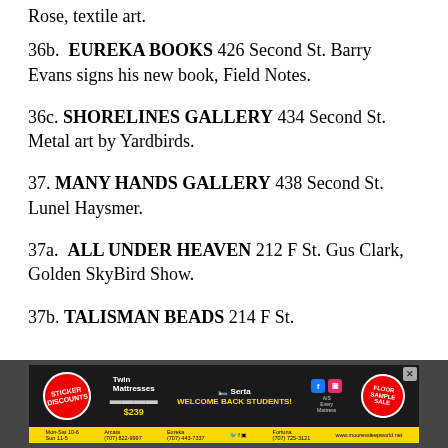Rose, textile art.
36b.  EUREKA BOOKS 426 Second St. Barry Evans signs his new book, Field Notes.
36c. SHORELINES GALLERY 434 Second St.  Metal art by Yardbirds.
37. MANY HANDS GALLERY 438 Second St. Lunel Haysmer.
37a.  ALL UNDER HEAVEN 212 F St. Gus Clark, Golden SkyBird Show.
37b. TALISMAN BEADS 214 F St.
[Figure (infographic): Moore's Sleep World advertisement banner with sticker discounts, Twin Mattresses $239, Welcome Back Students, social media icons, store locations for Arcata, Eureka, Fortuna, and website www.mooressleepworld.net]